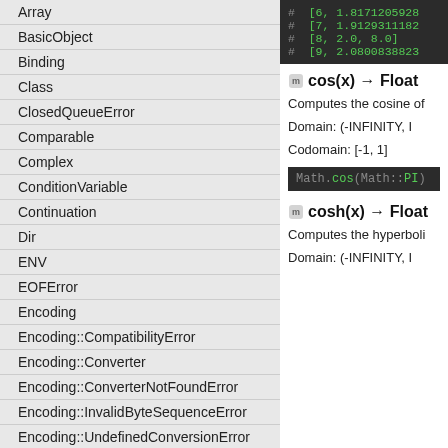Array
BasicObject
Binding
Class
ClosedQueueError
Comparable
Complex
ConditionVariable
Continuation
Dir
ENV
EOFError
Encoding
Encoding::CompatibilityError
Encoding::Converter
Encoding::ConverterNotFoundError
Encoding::InvalidByteSequenceError
Encoding::UndefinedConversionError
EncodingError
Enumerable
Enumerator
[Figure (screenshot): Code output showing array results: # [6, 1.8171205928...], # [7, 1.9129311827...], # [8, 2.0, 8.0], # [9, 2.080083823...]]
cos(x) → Float
Computes the cosine of
Domain: (-INFINITY, I
Codomain: [-1, 1]
[Figure (screenshot): Code example: Math.cos(Math::PI)]
cosh(x) → Float
Computes the hyperboli
Domain: (-INFINITY, I